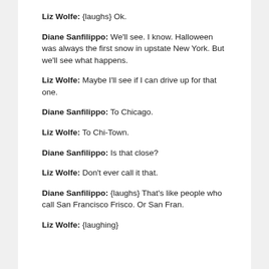Liz Wolfe: {laughs} Ok.
Diane Sanfilippo: We'll see. I know. Halloween was always the first snow in upstate New York. But we'll see what happens.
Liz Wolfe: Maybe I'll see if I can drive up for that one.
Diane Sanfilippo: To Chicago.
Liz Wolfe: To Chi-Town.
Diane Sanfilippo: Is that close?
Liz Wolfe: Don't ever call it that.
Diane Sanfilippo: {laughs} That's like people who call San Francisco Frisco. Or San Fran.
Liz Wolfe: {laughing}